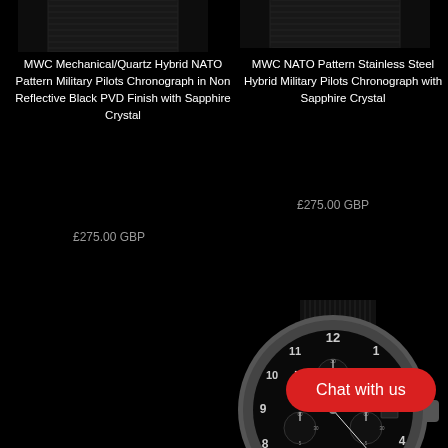[Figure (photo): Top portion of black NATO strap of a military pilot watch, dark background, left product]
MWC Mechanical/Quartz Hybrid NATO Pattern Military Pilots Chronograph in Non Reflective Black PVD Finish with Sapphire Crystal
£275.00 GBP
[Figure (photo): Top portion of black NATO strap of a military pilot watch, dark background, right product]
MWC NATO Pattern Stainless Steel Hybrid Military Pilots Chronograph with Sapphire Crystal
£275.00 GBP
[Figure (photo): MWC stainless steel military pilots chronograph watch with black dial, white Arabic numerals, three sub-dials, date window, crown on right side, black NATO strap, viewed from front]
Chat with us